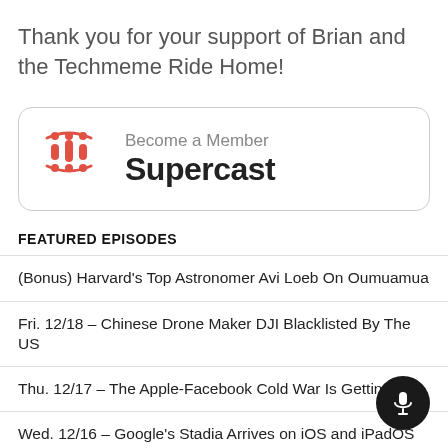Thank you for your support of Brian and the Techmeme Ride Home!
[Figure (logo): Supercast 'Become a Member' button with Supercast logo (red sound wave bars icon) and text 'Become a Member' above 'Supercast' in bold dark text, inside a rounded rectangle border]
FEATURED EPISODES
(Bonus) Harvard's Top Astronomer Avi Loeb On Oumuamua
Fri. 12/18 – Chinese Drone Maker DJI Blacklisted By The US
Thu. 12/17 – The Apple-Facebook Cold War Is Getting Hot
Wed. 12/16 – Google's Stadia Arrives on iOS and iPadOS